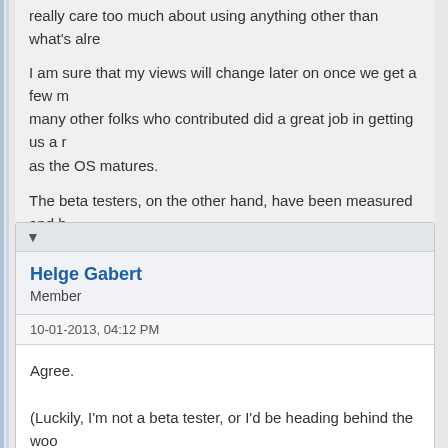really care too much about using anything other than what's alre...
I am sure that my views will change later on once we get a few m... many other folks who contributed did a great job in getting us a r... as the OS matures.
The beta testers, on the other hand, have been measured and b...
Find
▼
Helge Gabert
Member
10-01-2013, 04:12 PM
Agree.

(Luckily, I'm not a beta tester, or I'd be heading behind the woo...
Find